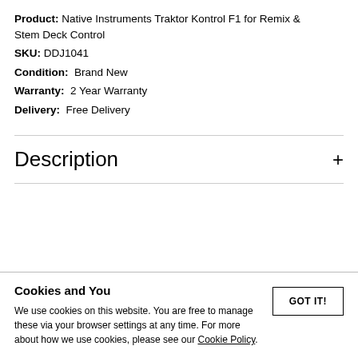Product: Native Instruments Traktor Kontrol F1 for Remix & Stem Deck Control
SKU: DDJ1041
Condition: Brand New
Warranty: 2 Year Warranty
Delivery: Free Delivery
Description
Cookies and You
We use cookies on this website. You are free to manage these via your browser settings at any time. For more about how we use cookies, please see our Cookie Policy.